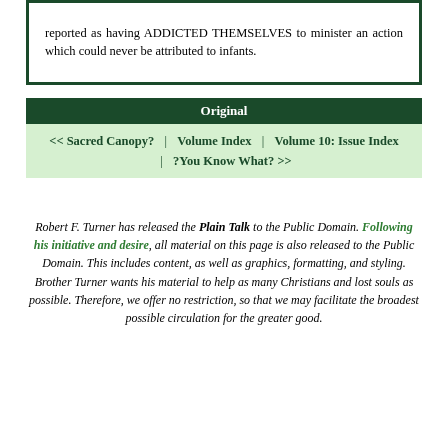reported as having ADDICTED THEMSELVES to minister an action which could never be attributed to infants.
Original
<< Sacred Canopy? | Volume Index | Volume 10: Issue Index | ?You Know What? >>
Robert F. Turner has released the Plain Talk to the Public Domain. Following his initiative and desire, all material on this page is also released to the Public Domain. This includes content, as well as graphics, formatting, and styling. Brother Turner wants his material to help as many Christians and lost souls as possible. Therefore, we offer no restriction, so that we may facilitate the broadest possible circulation for the greater good.